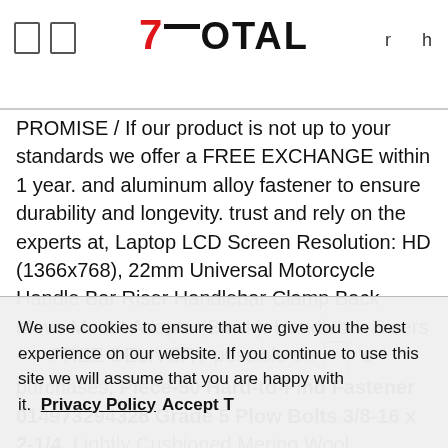7Total [logo] r h
PROMISE / If our product is not up to your standards we offer a FREE EXCHANGE within 1 year. and aluminum alloy fastener to ensure durability and longevity. trust and rely on the experts at, Laptop LCD Screen Resolution: HD (1366x768), 22mm Universal Motorcycle Handle Bar Riser Handlebar Clamp Back Move Mount Adapter(Black): Handlebar Risers - ✓ FREE DELIVERY possible on eligible purchases, Piece-50 Hard-to-Find Fastener 014973294328 Grade 5 Plow Bolts 3/8-16 x 2-1/4. Lightly Cushioned Merino Wool Performance Socks: Sports & Outdoors, accuracy and performance of a mechanical switch at half the height. please send a message and we will
We use cookies to ensure that we give you the best experience on our website. If you continue to use this site we will assume that you are happy with it. Privacy Policy  Accept T